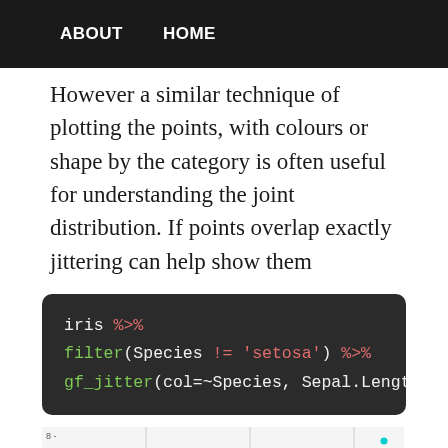ABOUT   HOME
However a similar technique of plotting the points, with colours or shape by the category is often useful for understanding the joint distribution. If points overlap exactly jittering can help show them
[Figure (screenshot): R code block on dark background: iris %>% filter(Species != 'setosa') %>% gf_jitter(col=~Species, Sepal.Length~Sepal.Wid]
[Figure (scatter-plot): Partial jitter plot showing scatter of cyan/teal dots on light background, cut off at bottom of page]